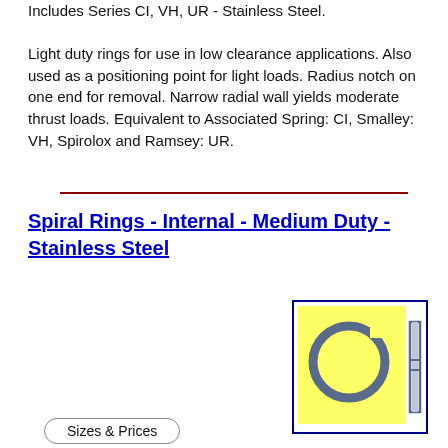Includes Series CI, VH, UR - Stainless Steel. Light duty rings for use in low clearance applications. Also used as a positioning point for light loads. Radius notch on one end for removal. Narrow radial wall yields moderate thrust loads. Equivalent to Associated Spring: CI, Smalley: VH, Spirolox and Ramsey: UR.
Spiral Rings - Internal - Medium Duty - Stainless Steel
[Figure (illustration): Illustration of an internal spiral ring shown as a circular ring with a gap/notch, displayed against a yellow square background inside a blue border box. A side profile view of the ring cross-section is shown to the right.]
Sizes & Prices